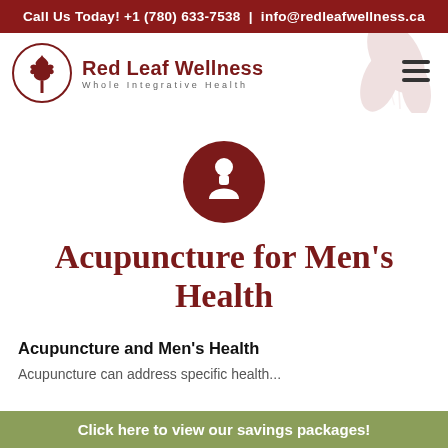Call Us Today! +1 (780) 633-7538  |  info@redleafwellness.ca
[Figure (logo): Red Leaf Wellness logo with maple leaf icon and tagline 'Whole Integrative Health']
[Figure (illustration): Circular dark red icon with a person/user silhouette in white]
Acupuncture for Men’s Health
Acupuncture and Men’s Health
Acupuncture can address specific health...
Click here to view our savings packages!